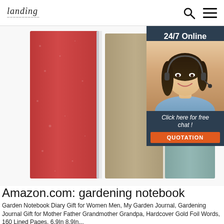landing [logo] | search icon | menu icon
[Figure (photo): Multiple hardcover notebooks stacked side by side showing red, tan/grey, and teal/grey covers with elastic band closures, close-up product shot]
[Figure (infographic): Ad overlay with dark navy background showing '24/7 Online' header, a female customer service agent wearing headset smiling, text 'Click here for free chat !' and orange QUOTATION button]
Amazon.com: gardening notebook
Garden Notebook Diary Gift for Women Men, My Garden Journal, Gardening Journal Gift for Mother Father Grandmother Grandpa, Hardcover Gold Foil Words, 160 Lined Pages, 6.9In 8.9In... $13.99